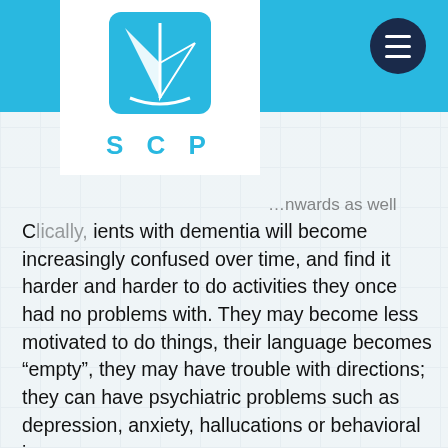SCP (logo navigation header)
Clinically, patients with dementia will become increasingly confused over time, and find it harder and harder to do activities they once had no problems with. They may become less motivated to do things, their language becomes “empty”, they may have trouble with directions; they can have psychiatric problems such as depression, anxiety, hallucations or behavioral issues.
How to Treat Dementia
At this time, the major treatments that are available